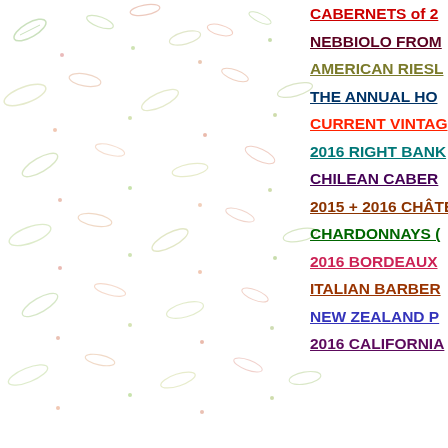[Figure (illustration): Decorative background with scattered illustrated wine/leaf motifs in green, red, and orange tones across the full page.]
CABERNETS of 2
NEBBIOLO FROM
AMERICAN RIESL
THE ANNUAL HO
CURRENT VINTAG
2016 RIGHT BANK
CHILEAN CABER
2015 + 2016 CHÂTE
CHARDONNAYS (
2016 BORDEAUX
ITALIAN BARBER
NEW ZEALAND P
2016 CALIFORNIA